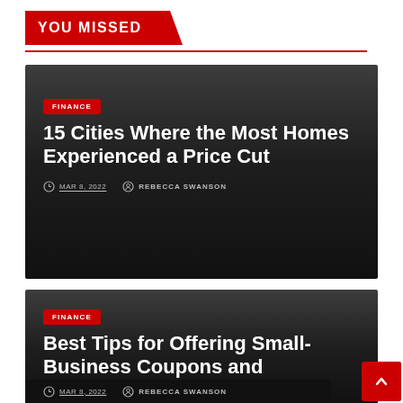YOU MISSED
[Figure (other): Dark card with FINANCE badge, article title '15 Cities Where the Most Homes Experienced a Price Cut', date MAR 8, 2022, author REBECCA SWANSON]
15 Cities Where the Most Homes Experienced a Price Cut
MAR 8, 2022   REBECCA SWANSON
[Figure (other): Dark card with FINANCE badge, article title 'Best Tips for Offering Small-Business Coupons and Discounts', date MAR 8, 2022, author REBECCA SWANSON]
Best Tips for Offering Small-Business Coupons and Discounts
MAR 8, 2022   REBECCA SWANSON